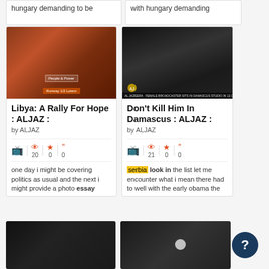hungary demanding to be
with hungary demanding
[Figure (photo): Close-up photo of red dried berries or seeds with a hand touching them, with a badge overlay reading 'People & Power' and an orange label below]
Libya: A Rally For Hope : ALJAZ :
by ALJAZ
20  0  0
one day i might be covering politics as usual and the next i might provide a photo essay
[Figure (photo): Dark close-up photo in black and white tones with an Al Jazeera logo overlay and a bar of text at the bottom]
Don't Kill Him In Damascus : ALJAZ :
by ALJAZ
21  0  0
serbia look in the list let me encounter what i mean there had to well with the early obama the
[Figure (photo): Dark black and white photo of a person's face in shadow]
[Figure (photo): Dark photo with a bright circular light/orb in the center]